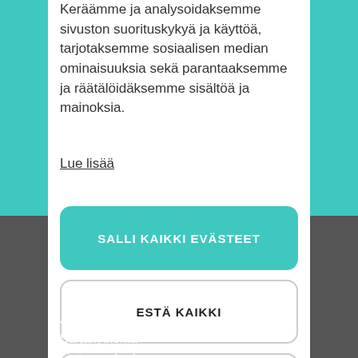Keräämme ja analysoidaksemme sivuston suorituskykyä ja käyttöä, tarjotaksemme sosiaalisen median ominaisuuksia sekä parantaaksemme ja räätälöidäksemme sisältöä ja mainoksia.
Lue lisää
SALLI KAIKKI EVÄSTEET
ESTÄ KAIKKI
EVÄSTEASETUKSET
Jähmeaine
Sarjakytkentä
Lisävarusteet